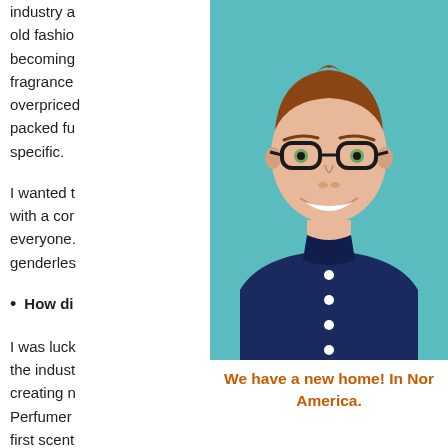industry a... old fashio... becoming... fragrance... overpriced... packed fu... specific.
I wanted t... with a cor... everyone.... genderles...
How di...
I was luck... the indust... creating n... Perfumer... first scent... relatively
[Figure (photo): Smiling man with glasses, short brown hair, wearing a dark navy blue shirt, photographed against a teal/turquoise background.]
We have a new home! In Nor... America.